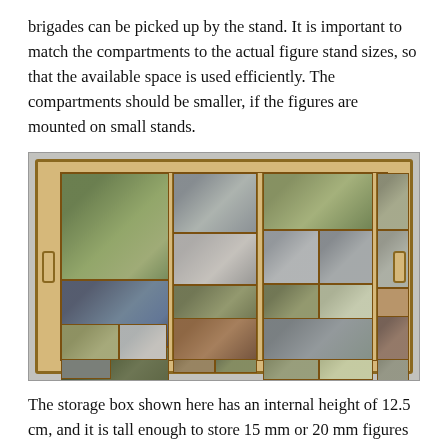brigades can be picked up by the stand. It is important to match the compartments to the actual figure stand sizes, so that the available space is used efficiently. The compartments should be smaller, if the figures are mounted on small stands.
[Figure (photo): A wooden storage box viewed from above, containing multiple compartments filled with painted miniature wargame figures on green bases, organized into sections with wooden dividers. The box has handles on each side.]
The storage box shown here has an internal height of 12.5 cm, and it is tall enough to store 15 mm or 20 mm figures on two levels. Be sensible to use several for this purpose. The st...